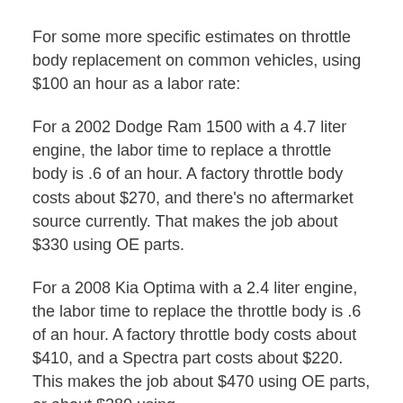For some more specific estimates on throttle body replacement on common vehicles, using $100 an hour as a labor rate:
For a 2002 Dodge Ram 1500 with a 4.7 liter engine, the labor time to replace a throttle body is .6 of an hour. A factory throttle body costs about $270, and there's no aftermarket source currently. That makes the job about $330 using OE parts.
For a 2008 Kia Optima with a 2.4 liter engine, the labor time to replace the throttle body is .6 of an hour. A factory throttle body costs about $410, and a Spectra part costs about $220. This makes the job about $470 using OE parts, or about $280 using